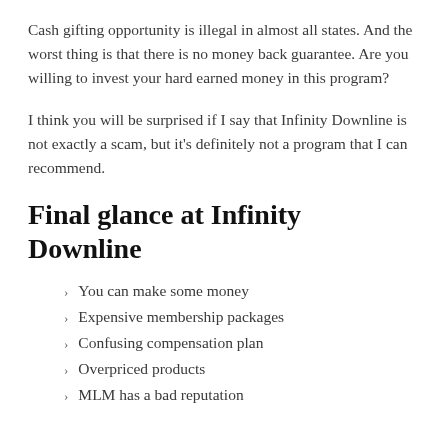Cash gifting opportunity is illegal in almost all states. And the worst thing is that there is no money back guarantee. Are you willing to invest your hard earned money in this program?
I think you will be surprised if I say that Infinity Downline is not exactly a scam, but it's definitely not a program that I can recommend.
Final glance at Infinity Downline
You can make some money
Expensive membership packages
Confusing compensation plan
Overpriced products
MLM has a bad reputation